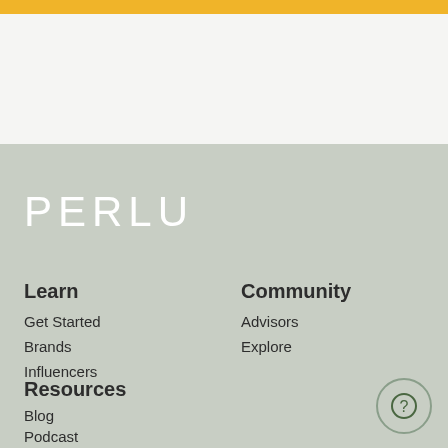[Figure (logo): PERLU logo text in white on sage green background]
Learn
Get Started
Brands
Influencers
Community
Advisors
Explore
Resources
Blog
Podcast
Member Spotlight